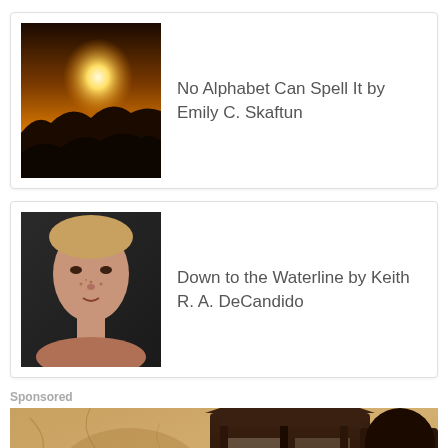[Figure (photo): Thumbnail image of a sunset with rocky landscape and bright sunlight]
No Alphabet Can Spell It by Emily C. Skaftun
[Figure (photo): Thumbnail portrait of a young woman with freckles looking at camera]
Down to the Waterline by Keith R. A. DeCandido
Sponsored
[Figure (photo): Close-up photograph of a dark metal lantern with a glowing bulb mounted on a textured stone wall]